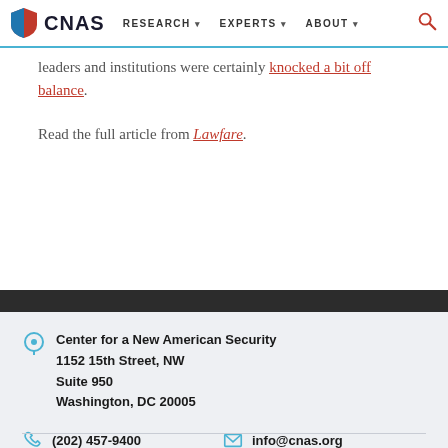CNAS | RESEARCH | EXPERTS | ABOUT
leaders and institutions were certainly knocked a bit off balance.
Read the full article from Lawfare.
Center for a New American Security
1152 15th Street, NW
Suite 950
Washington, DC 20005
(202) 457-9400
info@cnas.org